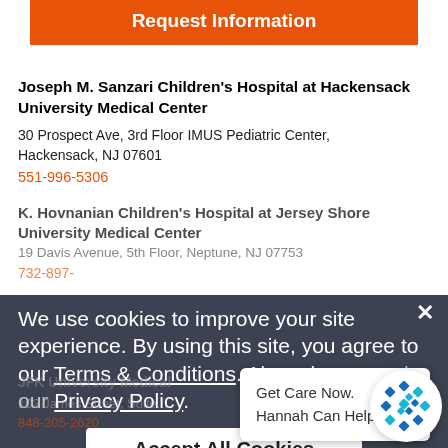Request Information
Joseph M. Sanzari Children's Hospital at Hackensack University Medical Center
30 Prospect Ave, 3rd Floor IMUS Pediatric Center, Hackensack, NJ 07601
551-996-5306
K. Hovnanian Children's Hospital at Jersey Shore University Medical Center
19 Davis Avenue, 5th Floor, Neptune, NJ 07753
732-897-...
JFK University Medical C...
102 James Street, Suite...
848-205-2620
We use cookies to improve your site experience. By using this site, you agree to our Terms & Conditions. Also, please read our Privacy Policy.
Accept All Cookies
Get Care Now. Hannah Can Help!